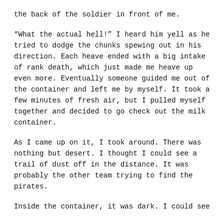the back of the soldier in front of me.
“What the actual hell!” I heard him yell as he tried to dodge the chunks spewing out in his direction. Each heave ended with a big intake of rank death, which just made me heave up even more. Eventually someone guided me out of the container and left me by myself. It took a few minutes of fresh air, but I pulled myself together and decided to go check out the milk container.
As I came up on it, I took around. There was nothing but desert. I thought I could see a trail of dust off in the distance. It was probably the other team trying to find the pirates.
Inside the container, it was dark. I could see